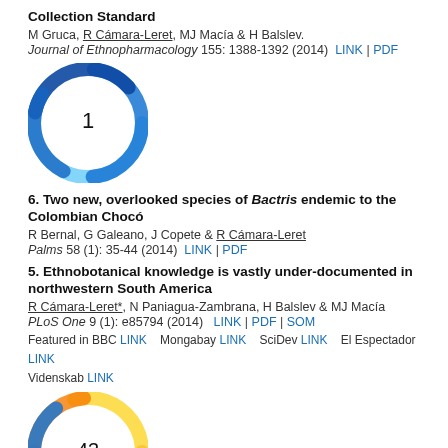Collection Standard
M Gruca, R Cámara-Leret, MJ Macía & H Balslev.
Journal of Ethnopharmacology 155: 1388-1392 (2014) LINK | PDF
[Figure (other): Altmetric badge showing score 1, blue swirl logo]
6. Two new, overlooked species of Bactris endemic to the Colombian Chocó
R Bernal, G Galeano, J Copete & R Cámara-Leret
Palms 58 (1): 35-44 (2014) LINK | PDF
5. Ethnobotanical knowledge is vastly under-documented in northwestern South America
R Cámara-Leret*, N Paniagua-Zambrana, H Balslev & MJ Macía
PLoS One 9 (1): e85794 (2014)  LINK | PDF | SOM
Featured in BBC LINK   Mongabay LINK   SciDev LINK   El Espectador LINK Videnskab LINK
[Figure (other): Altmetric badge showing score 43, multicolor swirl logo]